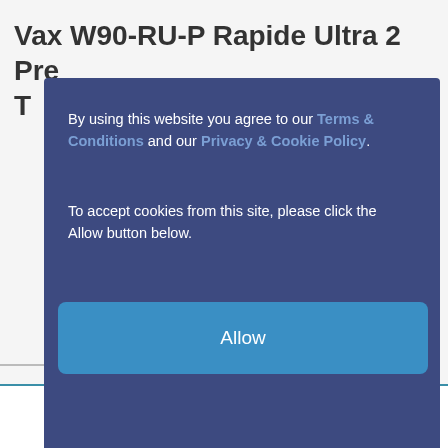Vax W90-RU-P Rapide Ultra 2 Pre T
By using this website you agree to our Terms & Conditions and our Privacy & Cookie Policy.

To accept cookies from this site, please click the Allow button below.
Allow
£
Spread the cost with PayPal Credit. Find Out More Terms apply. PayPal CREDIT